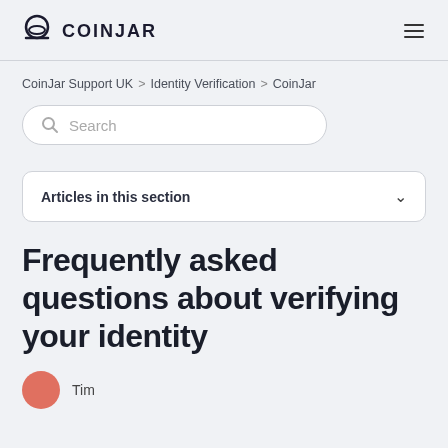COINJAR
CoinJar Support UK > Identity Verification > CoinJar
[Figure (screenshot): Search input box with magnifying glass icon and placeholder text 'Search']
Articles in this section
Frequently asked questions about verifying your identity
Tim